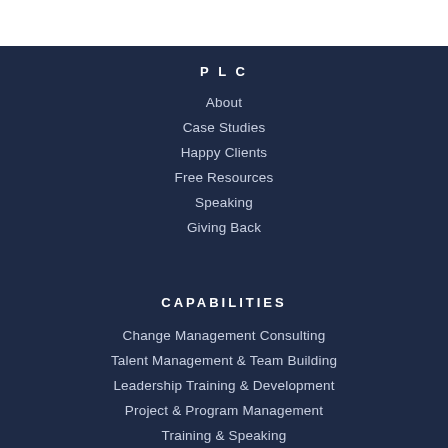PLC
About
Case Studies
Happy Clients
Free Resources
Speaking
Giving Back
CAPABILITIES
Change Management Consulting
Talent Management & Team Building
Leadership Training & Development
Project & Program Management
Training & Speaking
Assessments